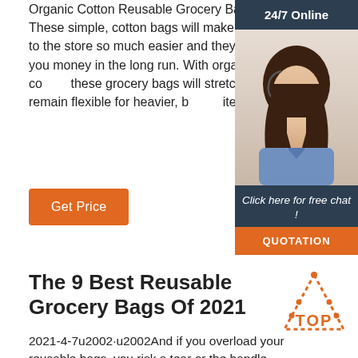Organic Cotton Reusable Grocery Bags. These simple, cotton bags will make your trips to the store so much easier and they'll save you money in the long run. With organic cotton, these grocery bags will stretch and remain flexible for heavier, bulkier items.
[Figure (other): Sidebar advertisement with '24/7 Online' header, photo of a woman with headset, 'Click here for free chat!' text, and QUOTATION button]
Get Price
The 9 Best Reusable Grocery Bags Of 2021
[Figure (illustration): Orange TOP badge/logo with dotted triangle]
2021-4-7u2002·u2002And if you overload your reusable bags, you risk a tear or the handle ripping. Some can